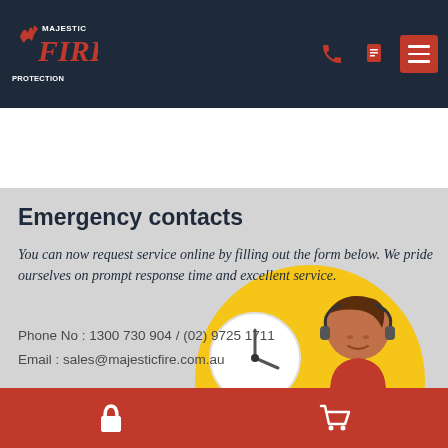Majestic Fire Protection — navigation bar with logo and icons
A hardwired smoke alarm consists of a 240-volt smoke alarm integrated into a home's electrical system with a battery back-up power supply.
Emergency contacts
You can now request service online by filling out the form below. We pride ourselves on prompt response time and excellent service.
Phone No : 1300 730 904 / (02) 9725 1711
Email : sales@majesticfire.com.au
[Figure (illustration): Customer service representative with clock icon inside a yellow circle, illustrated style]
Bottom navigation bar with lock icon and cart icon on red background